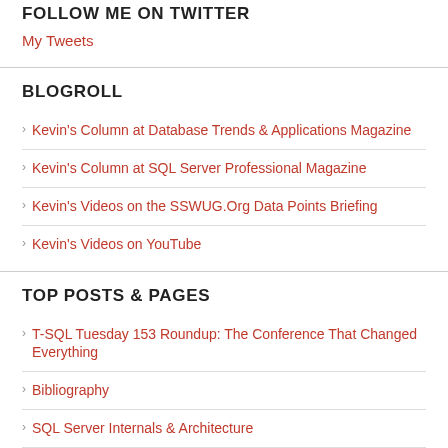FOLLOW ME ON TWITTER
My Tweets
BLOGROLL
Kevin's Column at Database Trends & Applications Magazine
Kevin's Column at SQL Server Professional Magazine
Kevin's Videos on the SSWUG.Org Data Points Briefing
Kevin's Videos on YouTube
TOP POSTS & PAGES
T-SQL Tuesday 153 Roundup: The Conference That Changed Everything
Bibliography
SQL Server Internals & Architecture
SQL Server Internals and Architecture